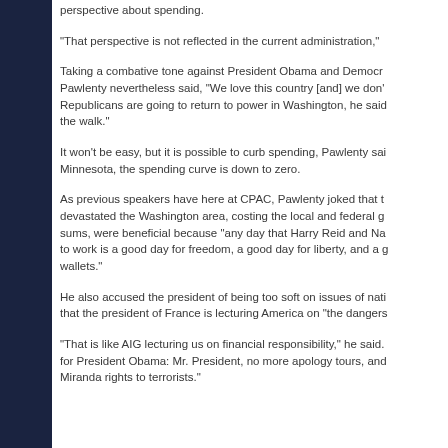perspective about spending.
"That perspective is not reflected in the current administration,"
Taking a combative tone against President Obama and Democrats, Pawlenty nevertheless said, "We love this country [and] we don't Republicans are going to return to power in Washington, he said the walk."
It won't be easy, but it is possible to curb spending, Pawlenty said Minnesota, the spending curve is down to zero.
As previous speakers have here at CPAC, Pawlenty joked that the devastated the Washington area, costing the local and federal g sums, were beneficial because "any day that Harry Reid and Na to work is a good day for freedom, a good day for liberty, and a g wallets."
He also accused the president of being too soft on issues of nati that the president of France is lecturing America on "the dangers
"That is like AIG lecturing us on financial responsibility," he said. for President Obama: Mr. President, no more apology tours, and Miranda rights to terrorists."